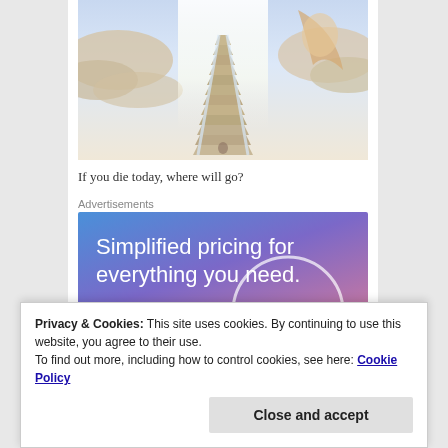[Figure (illustration): A stairway leading upward into bright heavenly light surrounded by clouds and a figure on the right side]
If you die today, where will go?
Advertisements
[Figure (infographic): Advertisement banner with blue-to-purple gradient reading 'Simplified pricing for everything you need.' with a WordPress.com logo at the bottom]
Privacy & Cookies: This site uses cookies. By continuing to use this website, you agree to their use.
To find out more, including how to control cookies, see here: Cookie Policy
Close and accept